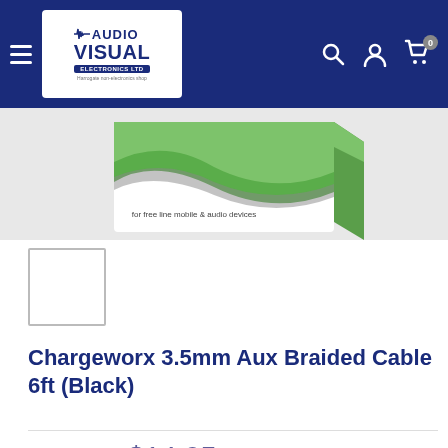[Figure (screenshot): Website header with Audio Visual Electronics Ltd logo on dark blue background, with hamburger menu, search, account, and cart icons]
[Figure (photo): Partial product image showing green and white packaging of Chargeworx 3.5mm Aux Braided Cable]
[Figure (photo): Small white thumbnail image placeholder with grey border]
Chargeworx 3.5mm Aux Braided Cable 6ft (Black)
Price: $14.95
Stock: In stock